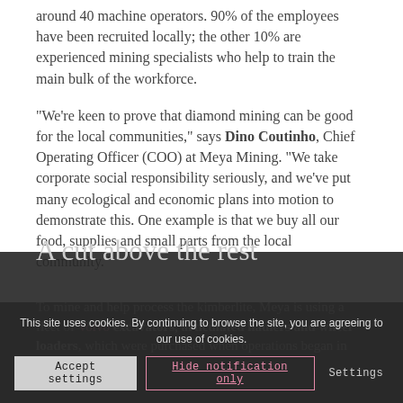around 40 machine operators. 90% of the employees have been recruited locally; the other 10% are experienced mining specialists who help to train the main bulk of the workforce.
“We’re keen to prove that diamond mining can be good for the local communities,” says Dino Coutinho, Chief Operating Officer (COO) at Meya Mining. “We take corporate social responsibility seriously, and we’ve put many ecological and economic plans into motion to demonstrate this. One example is that we buy all our food, supplies and small parts from the local community.”
A cut above the rest
To mine and help process the kimberlite, Meya is using a fleet of Volvo excavators, articulated haulers and wheel loaders, which were purchased when operations began in
This site uses cookies. By continuing to browse the site, you are agreeing to our use of cookies.